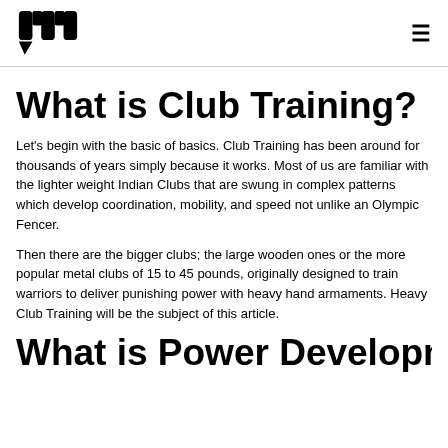[Logo] [hamburger menu]
What is Club Training?
Let's begin with the basic of basics. Club Training has been around for thousands of years simply because it works. Most of us are familiar with the lighter weight Indian Clubs that are swung in complex patterns which develop coordination, mobility, and speed not unlike an Olympic Fencer.
Then there are the bigger clubs; the large wooden ones or the more popular metal clubs of 15 to 45 pounds, originally designed to train warriors to deliver punishing power with heavy hand armaments. Heavy Club Training will be the subject of this article.
What is Power Development?